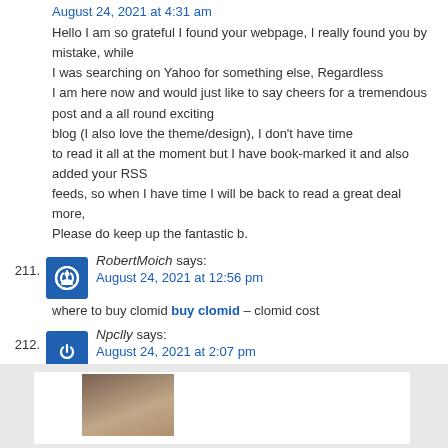August 24, 2021 at 4:31 am
Hello I am so grateful I found your webpage, I really found you by mistake, while I was searching on Yahoo for something else, Regardless I am here now and would just like to say cheers for a tremendous post and a all round exciting blog (I also love the theme/design), I don't have time to read it all at the moment but I have book-marked it and also added your RSS feeds, so when I have time I will be back to read a great deal more, Please do keep up the fantastic b.
211. RobertMoich says: August 24, 2021 at 12:56 pm
where to buy clomid buy clomid – clomid cost
212. Npclly says: August 24, 2021 at 2:07 pm
doxycycline 40mg capsules – doxycycline 20mg canada doxycycline india